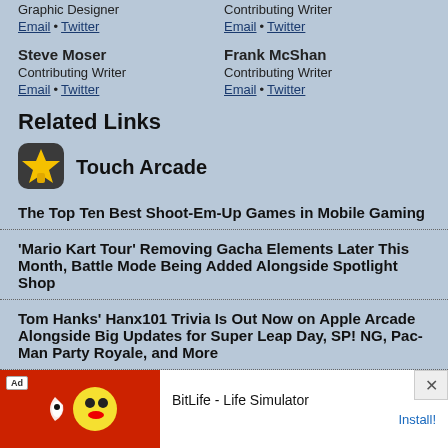Graphic Designer
Email • Twitter
Contributing Writer
Email • Twitter
Steve Moser
Contributing Writer
Email • Twitter
Frank McShan
Contributing Writer
Email • Twitter
Related Links
[Figure (logo): Touch Arcade app icon — yellow/orange star or torch shape on dark background]
Touch Arcade
The Top Ten Best Shoot-Em-Up Games in Mobile Gaming
'Mario Kart Tour' Removing Gacha Elements Later This Month, Battle Mode Being Added Alongside Spotlight Shop
Tom Hanks' Hanx101 Trivia Is Out Now on Apple Arcade Alongside Big Updates for Super Leap Day, SP! NG, Pac-Man Party Royale, and More
'Twinkle Star Sprites' Review – Like a Shooting Star
SwitchArcade… 'nem', Plus 'Oo…
[Figure (screenshot): Ad banner for BitLife - Life Simulator with red background, cartoon character, and Install button]